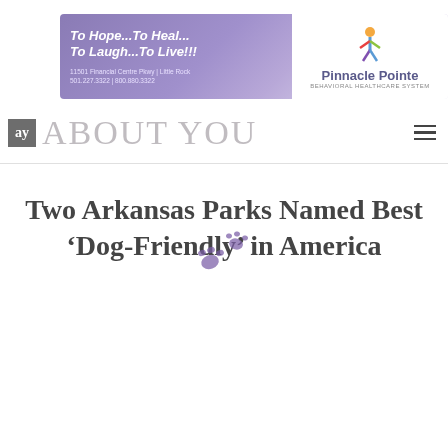[Figure (other): Pinnacle Pointe Behavioral Healthcare System banner advertisement with purple gradient background. Left side text: 'To Hope...To Heal... To Laugh...To Live!!!' with address '11501 Financial Centre Pkwy | Little Rock' and phone '501.227.3322 | 800.880.3322'. Right side: Pinnacle Pointe logo with colorful figure icon.]
[Figure (logo): AY About You magazine logo: dark grey square with 'ay' in white serif font, followed by 'ABOUT YOU' in large light grey serif text, with hamburger menu icon on the right.]
Two Arkansas Parks Named Best ‘Dog-Friendly’ in America